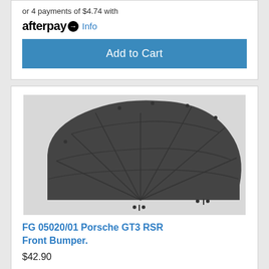or 4 payments of $4.74 with
afterpay Info
Add to Cart
[Figure (photo): Photo of FG 05020/01 Porsche GT3 RSR Front Bumper part — a dark grey fan-shaped plastic bumper component with ribbed sections, shown with small screws and bolts on a light grey background.]
FG 05020/01 Porsche GT3 RSR Front Bumper.
$42.90